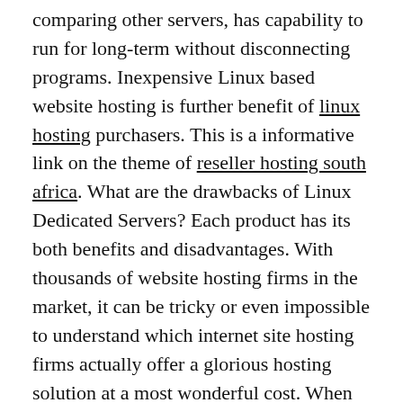comparing other servers, has capability to run for long-term without disconnecting programs. Inexpensive Linux based website hosting is further benefit of linux hosting purchasers. This is a informative link on the theme of reseller hosting south africa. What are the drawbacks of Linux Dedicated Servers? Each product has its both benefits and disadvantages. With thousands of website hosting firms in the market, it can be tricky or even impossible to understand which internet site hosting firms actually offer a glorious hosting solution at a most wonderful cost. When you have a longtime site name with a good website hosting company, it's possible to get reports on your traffic and figure out which of the pages your clients are visiting most frequently along with lots of other stats which will hurt your grey matter if you consume too swiftly. Plan to pay between $300 and $500 each year to your internet host. The last thing that you want to do is change host mid way unless you definitely have to do that. Still you can always look for a